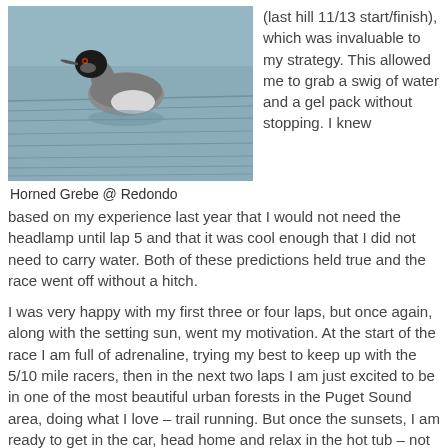[Figure (photo): A Horned Grebe bird floating on water, photographed at Redondo.]
Horned Grebe @ Redondo
(last hill 11/13 start/finish), which was invaluable to my strategy. This allowed me to grab a swig of water and a gel pack without stopping. I knew based on my experience last year that I would not need the headlamp until lap 5 and that it was cool enough that I did not need to carry water. Both of these predictions held true and the race went off without a hitch.
I was very happy with my first three or four laps, but once again, along with the setting sun, went my motivation. At the start of the race I am full of adrenaline, trying my best to keep up with the 5/10 mile racers, then in the next two laps I am just excited to be in one of the most beautiful urban forests in the Puget Sound area, doing what I love – trail running. But once the sunsets, I am ready to get in the car, head home and relax in the hot tub – not stumble around a cold, dark, lonely corridor in the woods.
Coming through the start/finish into my final lap, I knew it would be faster than my time from the previous year, but probably not a course record. I told Apryle I would see her when the clock turned over 3:23 and